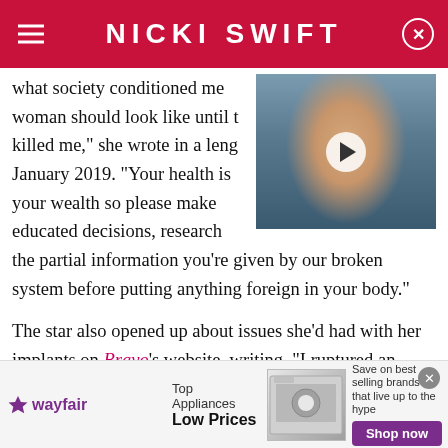NICKI SWIFT
what society conditioned me to think a woman should look like until the pressure killed me," she wrote in a lengthy post in January 2019. "Your health is your wealth so please make educated decisions, research the partial information you're given by our broken system before putting anything foreign in your body."
[Figure (photo): Thumbnail photo of a woman with blonde highlighted hair, wearing makeup, with a video play button overlay]
The star also opened up about issues she'd had with her implants on Bravo's website, writing, "I ruptured an
[Figure (infographic): Wayfair advertisement banner: Top Appliances Low Prices, Save on best selling brands that live up to the hype, Shop now button]